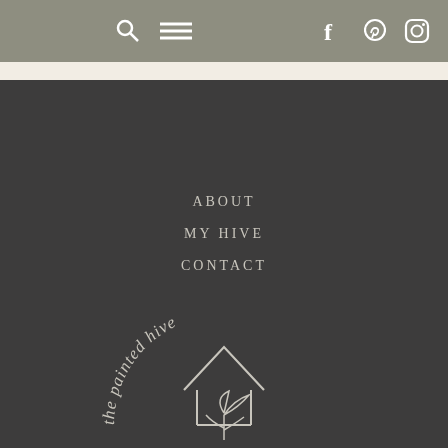navigation bar with search, menu, facebook, pinterest, instagram icons
ABOUT
MY HIVE
CONTACT
[Figure (logo): The Painted Hive logo — circular text reading 'the painted hive' arching over a line drawing of a house rooftop with a plant/leaf illustration inside]